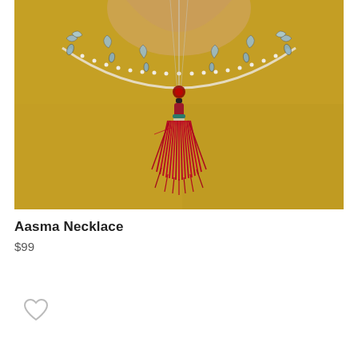[Figure (photo): A decorative necklace (Aasma Necklace) displayed against a mustard/yellow textured background. The necklace features crystal/rhinestone embellishments in leaf and crescent shapes along the top, pearl-like strand, and a vibrant red tassel pendant hanging from the center.]
Aasma Necklace
$99